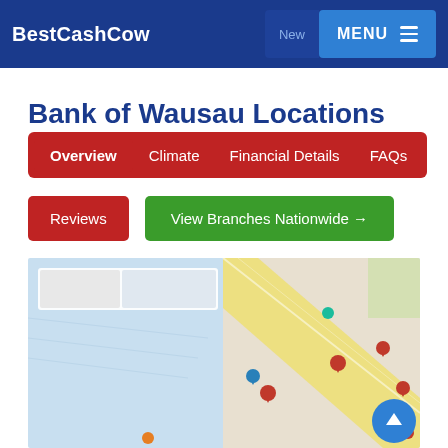BestCashCow | New | MENU
Bank of Wausau Locations
Overview | Climate | Financial Details | FAQs
Reviews
View Branches Nationwide →
[Figure (map): Google Maps view showing bank branch locations marked with red pins on a street/water map, with a map/satellite toggle in the upper left corner.]